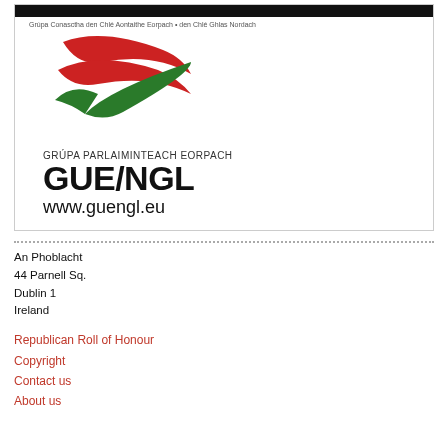[Figure (logo): GUE/NGL European Parliamentary Group logo with red and green swoosh/checkmark symbol, text 'GRÚPA PARLAIMINTEACH EORPACH', 'GUE/NGL', and 'www.guengl.eu']
An Phoblacht
44 Parnell Sq.
Dublin 1
Ireland
Republican Roll of Honour
Copyright
Contact us
About us